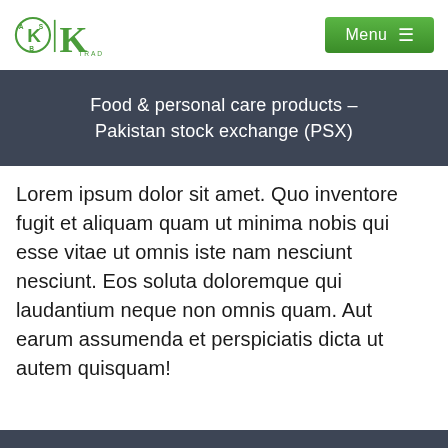KASB | K TRADE — Menu
Food & personal care products – Pakistan stock exchange (PSX)
Lorem ipsum dolor sit amet. Quo inventore fugit et aliquam quam ut minima nobis qui esse vitae ut omnis iste nam nesciunt nesciunt. Eos soluta doloremque qui laudantium neque non omnis quam. Aut earum assumenda et perspiciatis dicta ut autem quisquam!